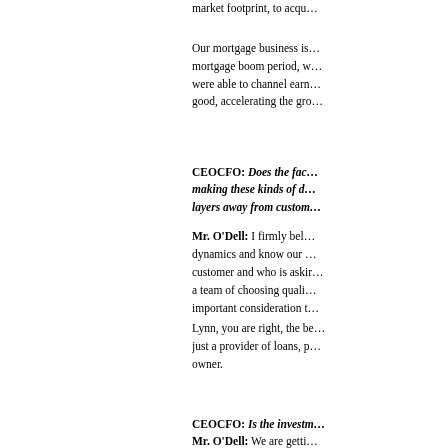market footprint, to acqu...
Our mortgage business is... mortgage boom period, w... were able to channel earn... good, accelerating the gro...
CEOCFO: Does the fac... making these kinds of d... layers away from custom... Mr. O'Dell: I firmly bel... dynamics and know our... customer and who is askir... a team of choosing quali... important consideration t...
Lynn, you are right, the be... just a provider of loans, p... owner.
CEOCFO: Is the investm... Mr. O'Dell: We are getti... more on investor radars...